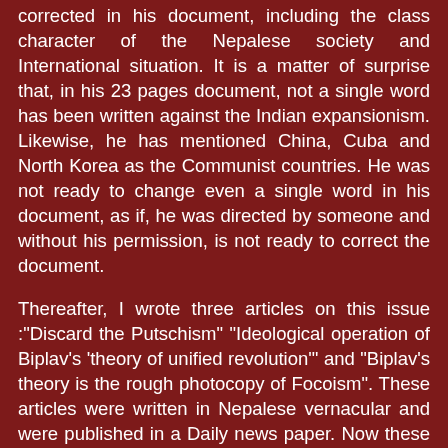corrected in his document, including the class character of the Nepalese society and International situation. It is a matter of surprise that, in his 23 pages document, not a single word has been written against the Indian expansionism. Likewise, he has mentioned China, Cuba and North Korea as the Communist countries. He was not ready to change even a single word in his document, as if, he was directed by someone and without his permission, is not ready to correct the document.
Thereafter, I wrote three articles on this issue :"Discard the Putschism" "Ideological operation of Biplav's 'theory of unified revolution'" and "Biplav's theory is the rough photocopy of Focoism". These articles were written in Nepalese vernacular and were published in a Daily news paper. Now these articles are available in the blog "The Next Front. "
In his document, Biplav has mentioned the need for arm struggle. But when we study his political document and watch his activities minutely, the result appears just opposite. Then we come to know that he is not in the position to apply MLM, let alone to start armed struggle, the detail is given below.